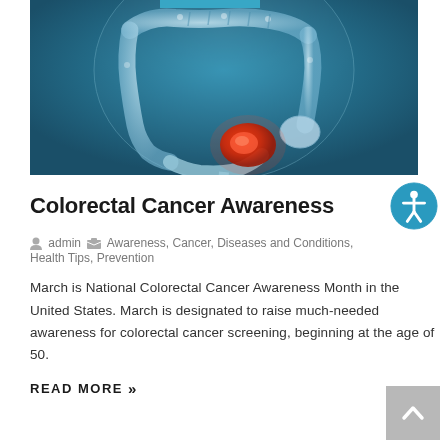[Figure (illustration): Medical illustration of human colon/large intestine against a blue background showing internal anatomy with a red highlighted area indicating colorectal cancer location]
Colorectal Cancer Awareness
admin   Awareness, Cancer, Diseases and Conditions, Health Tips, Prevention
March is National Colorectal Cancer Awareness Month in the United States. March is designated to raise much-needed awareness for colorectal cancer screening, beginning at the age of 50.
READ MORE »